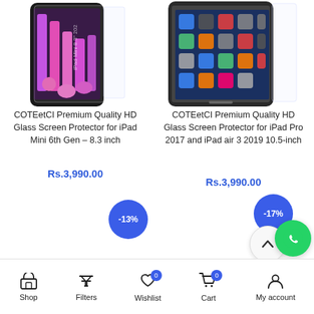[Figure (photo): iPad Mini 6th Gen with screen protector - product image, partially cropped at top]
[Figure (photo): iPad Pro/Air with screen protector - product image, partially cropped at top]
COTEetCI Premium Quality HD Glass Screen Protector for iPad Mini 6th Gen – 8.3 inch
Rs.3,990.00
COTEetCI Premium Quality HD Glass Screen Protector for iPad Pro 2017 and iPad air 3 2019 10.5-inch
Rs.3,990.00
-13%
-17%
Shop  Filters  Wishlist  Cart  My account